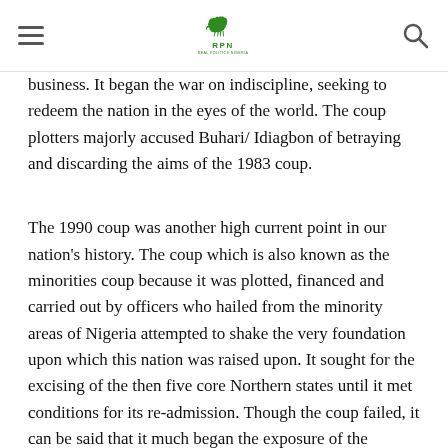RPN Real Politics Nigeria
business. It began the war on indiscipline, seeking to redeem the nation in the eyes of the world. The coup plotters majorly accused Buhari/ Idiagbon of betraying and discarding the aims of the 1983 coup.
The 1990 coup was another high current point in our nation's history. The coup which is also known as the minorities coup because it was plotted, financed and carried out by officers who hailed from the minority areas of Nigeria attempted to shake the very foundation upon which this nation was raised upon. It sought for the excising of the then five core Northern states until it met conditions for its re-admission. Though the coup failed, it can be said that it much began the exposure of the numerous faultlines upon which our country has operated upon. It